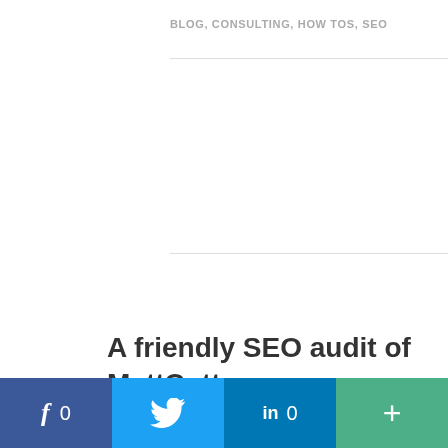BLOG, CONSULTING, HOW TOS, SEO
A friendly SEO audit of MattCutts.com
[Figure (other): Social sharing bar with Facebook (f, 0), Twitter (bird icon), LinkedIn (in, 0), and Google+ (+) buttons]